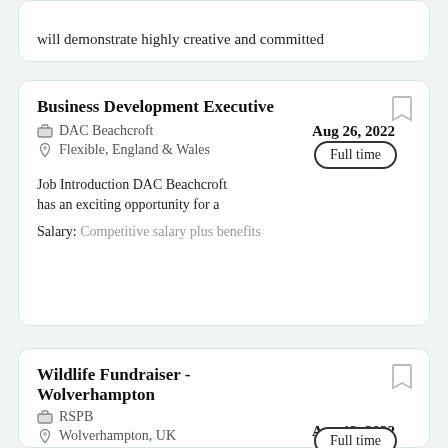will demonstrate highly creative and committed
Business Development Executive
Aug 26, 2022
DAC Beachcroft
Flexible, England & Wales
Full time
Job Introduction DAC Beachcroft has an exciting opportunity for a
Salary: Competitive salary plus benefits
Wildlife Fundraiser - Wolverhampton
Aug 12, 2022
RSPB
Wolverhampton, UK
Full time
Do you have great communication skills, and a